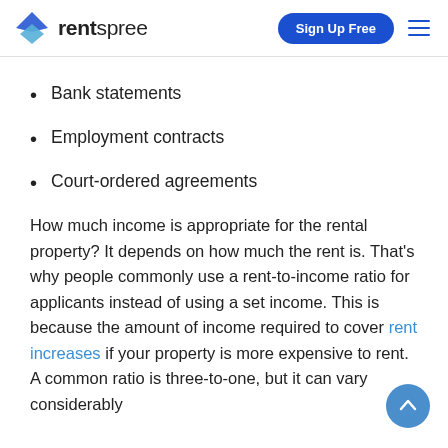rentspree — Sign Up Free
Bank statements
Employment contracts
Court-ordered agreements
How much income is appropriate for the rental property? It depends on how much the rent is. That's why people commonly use a rent-to-income ratio for applicants instead of using a set income. This is because the amount of income required to cover rent increases if your property is more expensive to rent. A common ratio is three-to-one, but it can vary considerably